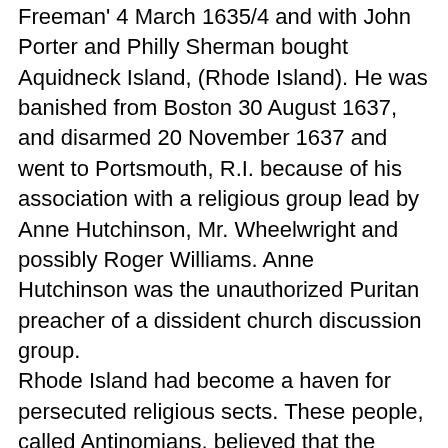Freeman' 4 March 1635/4 and with John Porter and Philly Sherman bought Aquidneck Island, (Rhode Island). He was banished from Boston 30 August 1637, and disarmed 20 November 1637 and went to Portsmouth, R.I. because of his association with a religious group lead by Anne Hutchinson, Mr. Wheelwright and possibly Roger Williams. Anne Hutchinson was the unauthorized Puritan preacher of a dissident church discussion group. Rhode Island had become a haven for persecuted religious sects. These people, called Antinomians, believed that the moral laws as taught by the Church of England were of no value and that the only law that should be followed was that of the Gospel. Quakers, who eventually merged with the Antinomians, established a meeting house on Aquidneck in 1657. 11 January 1638/9 he was constable at Portsmouth. He owned land at Nt. Wolliston (now Quincy). With Ralph